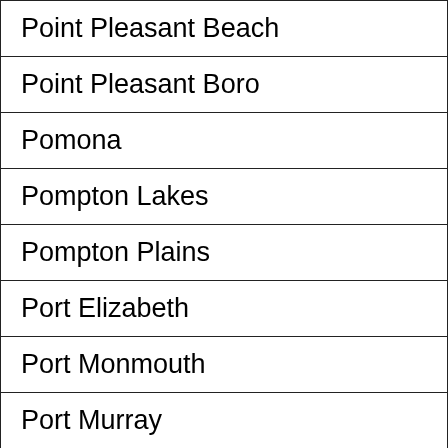| Point Pleasant Beach |
| Point Pleasant Boro |
| Pomona |
| Pompton Lakes |
| Pompton Plains |
| Port Elizabeth |
| Port Monmouth |
| Port Murray |